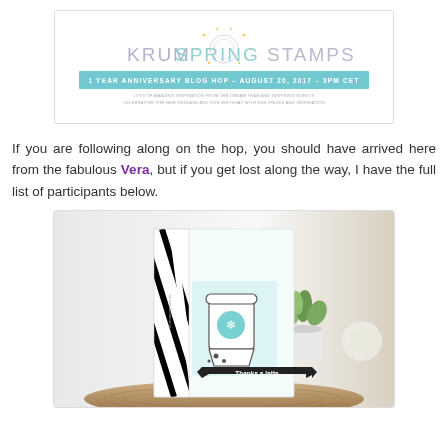[Figure (illustration): KrumSpring Stamps 1 Year Anniversary Blog Hop banner with teal and light purple branding, event date August 20, 2017 3PM CET]
If you are following along on the hop, you should have arrived here from the fabulous Vera, but if you get lost along the way, I have the full list of participants below.
[Figure (photo): Handmade greeting card with black and white diagonal stripe panel, teal coffee cup stamp with snowflake heart design, black banner reading 'Thanks a latte', displayed on wood surface with succulent plant in background]